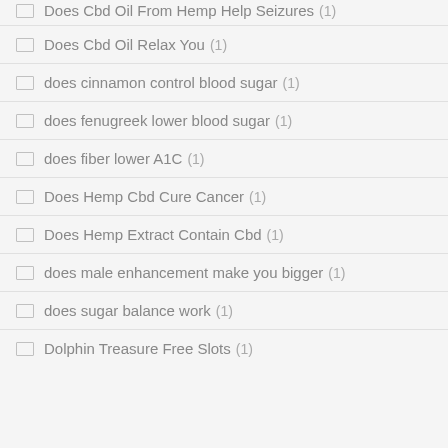Does Cbd Oil From Hemp Help Seizures (1)
Does Cbd Oil Relax You (1)
does cinnamon control blood sugar (1)
does fenugreek lower blood sugar (1)
does fiber lower A1C (1)
Does Hemp Cbd Cure Cancer (1)
Does Hemp Extract Contain Cbd (1)
does male enhancement make you bigger (1)
does sugar balance work (1)
Dolphin Treasure Free Slots (1)